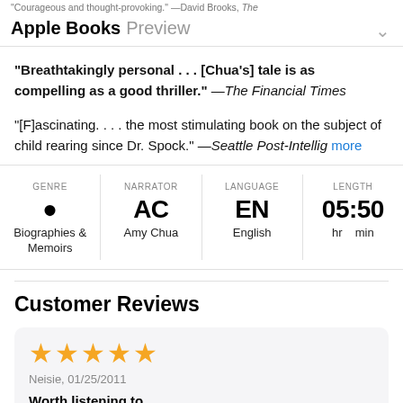"Courageous and thought-provoking." —David Brooks, The
Apple Books Preview
"Breathtakingly personal . . . [Chua's] tale is as compelling as a good thriller." —The Financial Times
"[F]ascinating. . . . the most stimulating book on the subject of child rearing since Dr. Spock." —Seattle Post-Intellig more
| GENRE | NARRATOR | LANGUAGE | LENGTH |
| --- | --- | --- | --- |
| Biographies & Memoirs | AC
Amy Chua | EN
English | 05:50
hr   min |
Customer Reviews
★★★★★
Neisie, 01/25/2011
Worth listening to